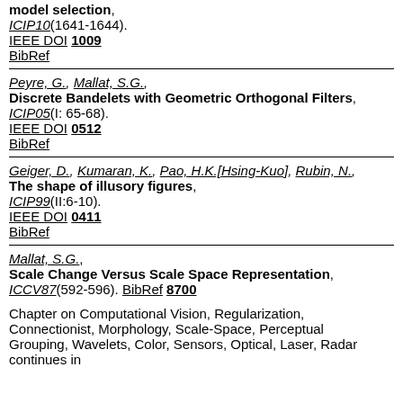model selection, ICIP10(1641-1644). IEEE DOI 1009 BibRef
Peyre, G., Mallat, S.G., Discrete Bandelets with Geometric Orthogonal Filters, ICIP05(I: 65-68). IEEE DOI 0512 BibRef
Geiger, D., Kumaran, K., Pao, H.K.[Hsing-Kuo], Rubin, N., The shape of illusory figures, ICIP99(II:6-10). IEEE DOI 0411 BibRef
Mallat, S.G., Scale Change Versus Scale Space Representation, ICCV87(592-596). BibRef 8700
Chapter on Computational Vision, Regularization, Connectionist, Morphology, Scale-Space, Perceptual Grouping, Wavelets, Color, Sensors, Optical, Laser, Radar continues in